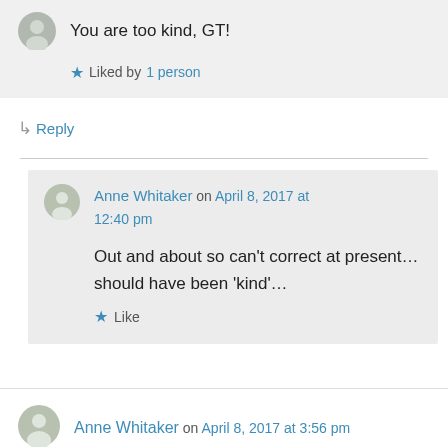You are too kind, GT!
Liked by 1 person
Reply
Anne Whitaker on April 8, 2017 at 12:40 pm
Out and about so can't correct at present… should have been 'kind'…
Like
Anne Whitaker on April 8, 2017 at 3:56 pm